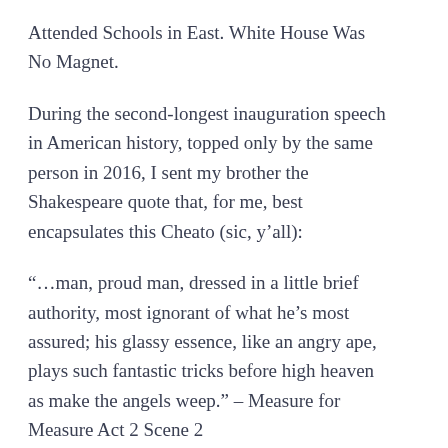Attended Schools in East. White House Was No Magnet.
During the second-longest inauguration speech in American history, topped only by the same person in 2016, I sent my brother the Shakespeare quote that, for me, best encapsulates this Cheato (sic, y'all):
“…man, proud man, dressed in a little brief authority, most ignorant of what he’s most assured; his glassy essence, like an angry ape, plays such fantastic tricks before high heaven as make the angels weep.” – Measure for Measure Act 2 Scene 2
A neighbor’s yard sign uses a less lofty vernacular to express a similar idea: